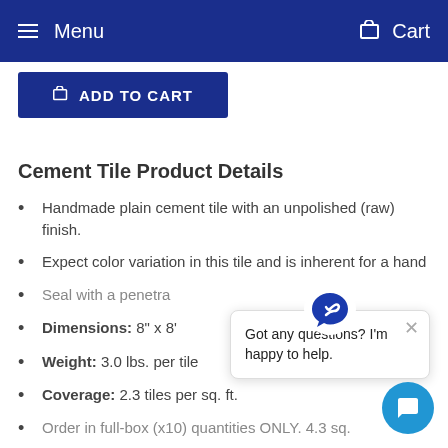Menu   Cart
ADD TO CART
Cement Tile Product Details
Handmade plain cement tile with an unpolished (raw) finish.
Expect color variation in this tile and is inherent for a hand
Seal with a penetra
Dimensions: 8" x 8'
Weight: 3.0 lbs. per tile
Coverage: 2.3 tiles per sq. ft.
Order in full-box (x10) quantities ONLY. 4.3 sq.